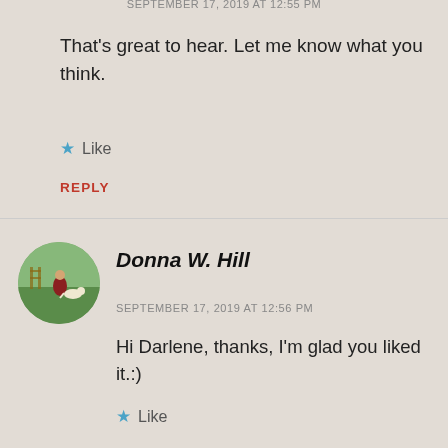SEPTEMBER 17, 2019 AT 12:55 PM
That's great to hear. Let me know what you think.
★ Like
REPLY
Donna W. Hill
SEPTEMBER 17, 2019 AT 12:56 PM
Hi Darlene, thanks, I'm glad you liked it.:)
★ Like